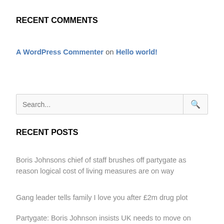RECENT COMMENTS
A WordPress Commenter on Hello world!
Search...
RECENT POSTS
Boris Johnsons chief of staff brushes off partygate as reason logical cost of living measures are on way
Gang leader tells family I love you after £2m drug plot
Partygate: Boris Johnson insists UK needs to move on